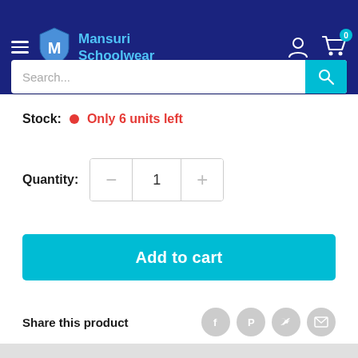Mansuri Schoolwear
Search...
Stock: Only 6 units left
Quantity: 1
Add to cart
Share this product